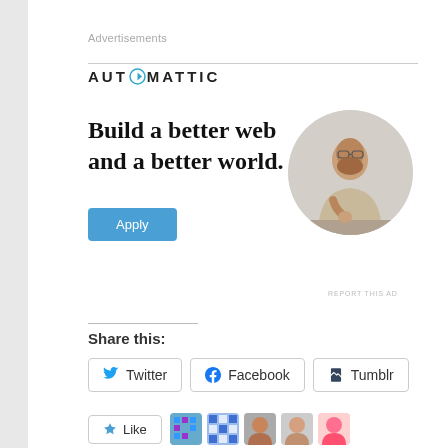Advertisements
[Figure (infographic): Automattic advertisement banner with logo, headline 'Build a better web and a better world.', Apply button, and circular photo of a man thinking]
REPORT THIS AD
Share this:
Twitter  Facebook  Tumblr
Like